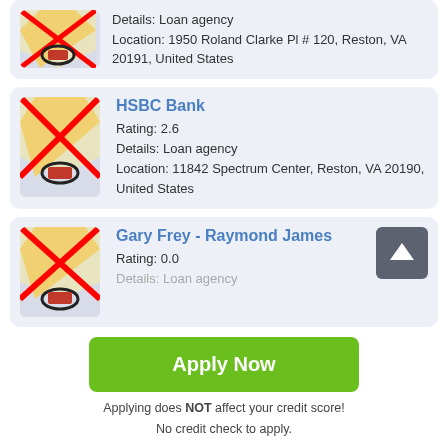[Figure (screenshot): Partial card at top showing loan agency at 1950 Roland Clarke Pl #120, Reston, VA 20191, United States]
HSBC Bank
Rating: 2.6
Details: Loan agency
Location: 11842 Spectrum Center, Reston, VA 20190, United States
Gary Frey - Raymond James
Rating: 0.0
Details: Loan agency
Apply Now
Applying does NOT affect your credit score!
No credit check to apply.